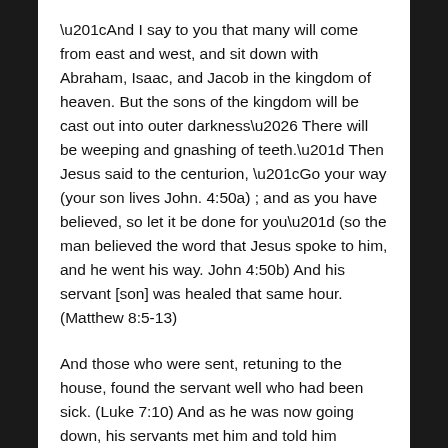“And I say to you that many will come from east and west, and sit down with Abraham, Isaac, and Jacob in the kingdom of heaven. But the sons of the kingdom will be cast out into outer darkness… There will be weeping and gnashing of teeth.” Then Jesus said to the centurion, “Go your way (your son lives John. 4:50a) ; and as you have believed, so let it be done for you” (so the man believed the word that Jesus spoke to him, and he went his way. John 4:50b) And his servant [son] was healed that same hour. (Matthew 8:5-13)
And those who were sent, retuning to the house, found the servant well who had been sick. (Luke 7:10) And as he was now going down, his servants met him and told him saying, ‘Your son lives!’ Then